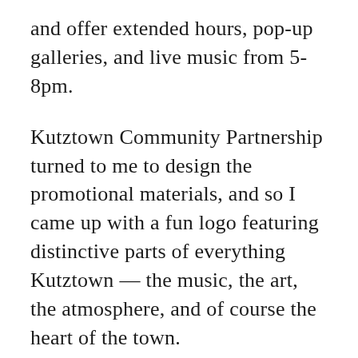and offer extended hours, pop-up galleries, and live music from 5-8pm.
Kutztown Community Partnership turned to me to design the promotional materials, and so I came up with a fun logo featuring distinctive parts of everything Kutztown — the music, the art, the atmosphere, and of course the heart of the town.
I encourage you to mark First Friday in Kutztown on your calendar, from April through October 2013 and check out www.keepinitkutztown.com for upcoming